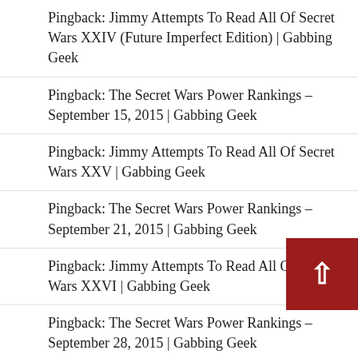Pingback: Jimmy Attempts To Read All Of Secret Wars XXIV (Future Imperfect Edition) | Gabbing Geek
Pingback: The Secret Wars Power Rankings – September 15, 2015 | Gabbing Geek
Pingback: Jimmy Attempts To Read All Of Secret Wars XXV | Gabbing Geek
Pingback: The Secret Wars Power Rankings – September 21, 2015 | Gabbing Geek
Pingback: Jimmy Attempts To Read All Of Secret Wars XXVI | Gabbing Geek
Pingback: The Secret Wars Power Rankings – September 28, 2015 | Gabbing Geek
Pingback: Jimmy Attempts To Read All Of Secret Wars XXVII: Mrs. Deadpool Edition | Gabbing Geek
Pingback: The Secret Wars Power Rankings – October 5, 2015 | Gabbing Geek
Pingback: The Secret Wars Power Rankings – October 9,